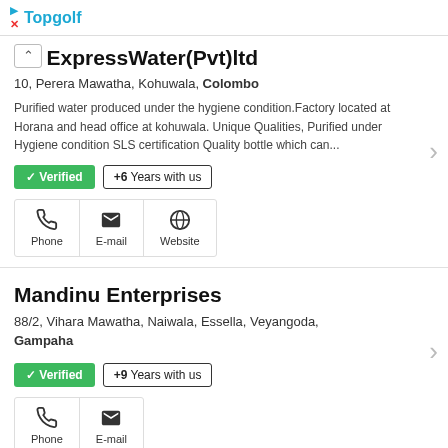Topgolf
ExpressWater(Pvt)ltd
10, Perera Mawatha, Kohuwala, Colombo
Purified water produced under the hygiene condition.Factory located at Horana and head office at kohuwala. Unique Qualities, Purified under Hygiene condition SLS certification Quality bottle which can...
✓ Verified  +6  Years with us
Phone  E-mail  Website
Mandinu Enterprises
88/2, Vihara Mawatha, Naiwala, Essella, Veyangoda, Gampaha
✓ Verified  +9  Years with us
Phone  E-mail